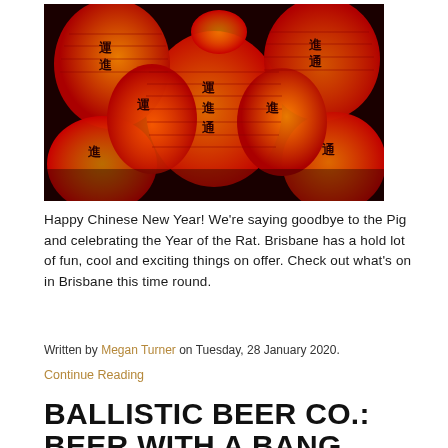[Figure (photo): Cluster of glowing red Chinese paper lanterns with black Chinese calligraphy characters printed on them, photographed from below against a dark background.]
Happy Chinese New Year! We're saying goodbye to the Pig and celebrating the Year of the Rat. Brisbane has a hold lot of fun, cool and exciting things on offer. Check out what's on in Brisbane this time round.
Written by Megan Turner on Tuesday, 28 January 2020.
Continue Reading
BALLISTIC BEER CO.: BEER WITH A BANG